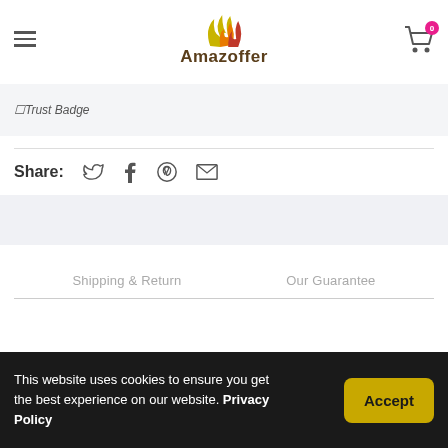Amazoffer
[Figure (other): Trust Badge broken image placeholder]
Share:
Shipping & Return   Our Guarantee
This website uses cookies to ensure you get the best experience on our website. Privacy Policy